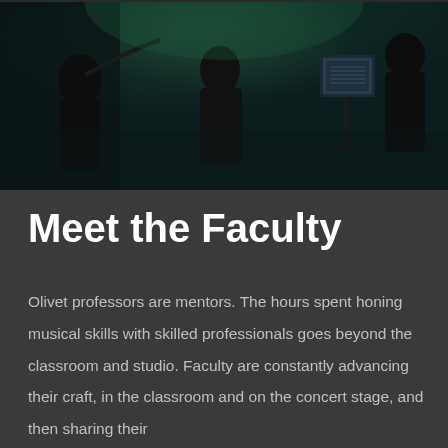[Figure (photo): Orchestra musicians playing instruments in a dark concert setting, with music stands visible. Players dressed in black, with green stage lighting in the background.]
Meet the Faculty
Olivet professors are mentors. The hours spent honing musical skills with skilled professionals goes beyond the classroom and studio. Faculty are constantly advancing their craft, in the classroom and on the concert stage, and then sharing their